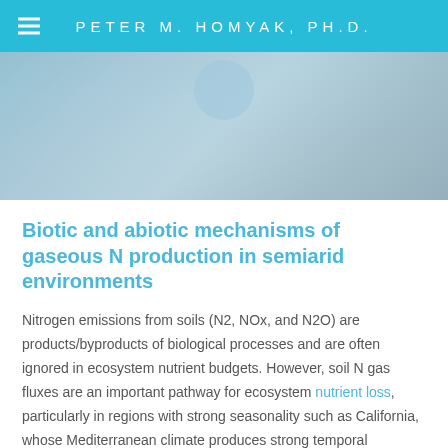PETER M. HOMYAK, PH.D.
[Figure (photo): Partial photograph visible at top of page below header, showing an outdoor/nature scene with blue tones]
Biotic and abiotic mechanisms of gaseous N production in semiarid environments
Nitrogen emissions from soils (N2, NOx, and N2O) are products/byproducts of biological processes and are often ignored in ecosystem nutrient budgets. However, soil N gas fluxes are an important pathway for ecosystem nutrient loss, particularly in regions with strong seasonality such as California, whose Mediterranean climate produces strong temporal